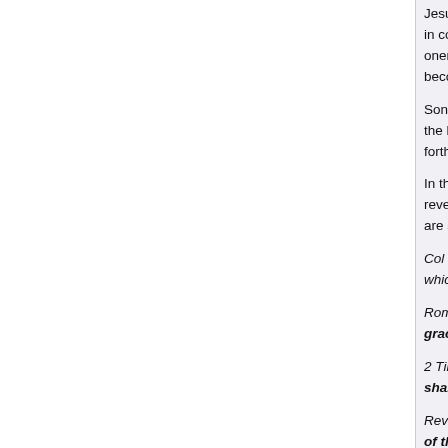Jesus was one in number... in comparison to the m... oneness with Christ Jes... becoming a son of God...
Sons of God are follow... the light of God within... forth governing forces...
In the past ruling and r... revealed that Christ in... are subject to Christ an...
Col 1:27: To them Go... which is Christ in yo...
Rom 5:17: For if by th... grace and of the gift o...
2 Tim 2:11-12: This i... shall also reign wit...
Rev 1:5-6: and from... of the earth. To Him... priests to His God a...
Rev 5:10: And have...
Jesus is the King. He is... Christ Jesus has at His...